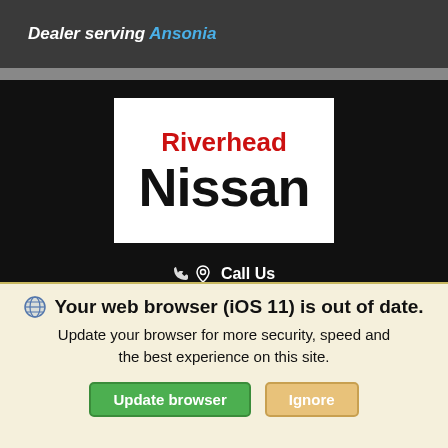Dealer serving Ansonia
[Figure (logo): Riverhead Nissan dealership logo — white rectangle with 'Riverhead' in red bold text above 'Nissan' in large black bold text]
Call Us
Directions
ABOUT US
FINANCING
Your web browser (iOS 11) is out of date. Update your browser for more security, speed and the best experience on this site.